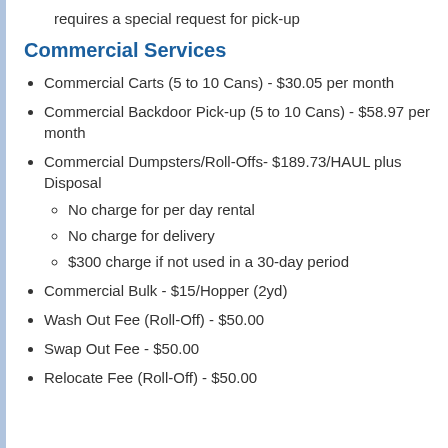requires a special request for pick-up
Commercial Services
Commercial Carts (5 to 10 Cans) - $30.05 per month
Commercial Backdoor Pick-up (5 to 10 Cans) - $58.97 per month
Commercial Dumpsters/Roll-Offs- $189.73/HAUL plus Disposal
No charge for per day rental
No charge for delivery
$300 charge if not used in a 30-day period
Commercial Bulk - $15/Hopper (2yd)
Wash Out Fee (Roll-Off) - $50.00
Swap Out Fee - $50.00
Relocate Fee (Roll-Off) - $50.00